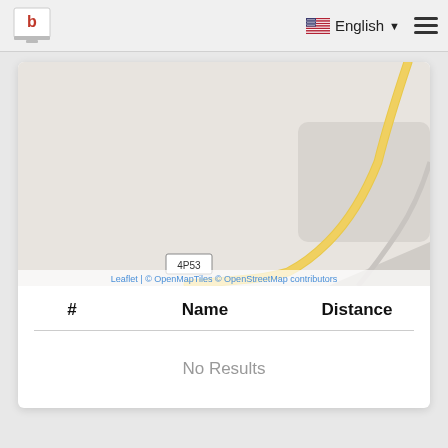b  English  ☰
[Figure (map): Map showing road 4P53 with a yellow road curving from upper right, on a light gray background. Attribution: Leaflet | © OpenMapTiles © OpenStreetMap contributors]
| # | Name | Distance |
| --- | --- | --- |
| No Results |  |  |
No Results